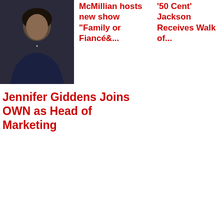[Figure (photo): Woman with arms crossed, professional headshot]
McMillian hosts new show “Family or Fiancé&...
’50 Cent’ Jackson Receives Walk of...
Jennifer Giddens Joins OWN as Head of Marketing
Get the Los Angeles Sentinel App!
[Figure (screenshot): Apple App Store download badge - Available on the App Store]
[Figure (screenshot): Google Play Store download badge - Android App on Google play]